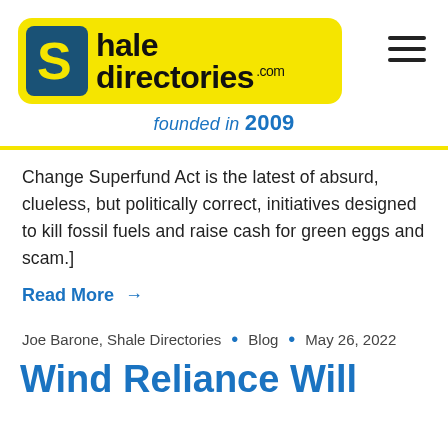[Figure (logo): Shale Directories logo on yellow background with large S icon, text 'shale directories.com', founded in 2009]
Change Superfund Act is the latest of absurd, clueless, but politically correct, initiatives designed to kill fossil fuels and raise cash for green eggs and scam.]
Read More →
Joe Barone, Shale Directories • Blog • May 26, 2022
Wind Reliance Will